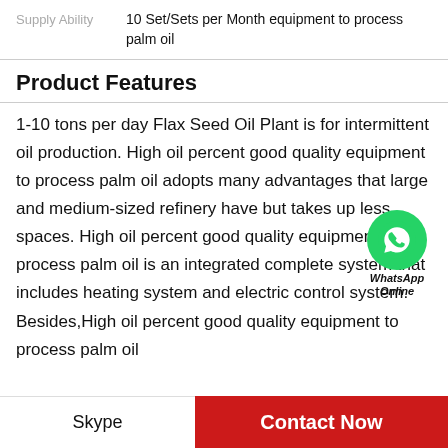Supply Ability    10 Set/Sets per Month equipment to process palm oil
Product Features
1-10 tons per day Flax Seed Oil Plant is for intermittent oil production. High oil percent good quality equipment to process palm oil adopts many advantages that large and medium-sized refinery have but takes up less spaces. High oil percent good quality equipment to process palm oil is an integrated complete system that includes heating system and electric control system. Besides,High oil percent good quality equipment to process palm oil
[Figure (logo): WhatsApp Online chat bubble icon with green circle phone icon, text 'WhatsApp Online']
Skype
Contact Now